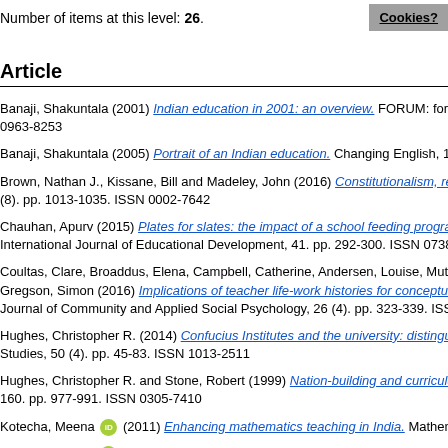Number of items at this level: 26.
Article
Banaji, Shakuntala (2001) Indian education in 2001: an overview. FORUM: for c 0963-8253
Banaji, Shakuntala (2005) Portrait of an Indian education. Changing English, 12
Brown, Nathan J., Kissane, Bill and Madeley, John (2016) Constitutionalism, re (8). pp. 1013-1035. ISSN 0002-7642
Chauhan, Apurv (2015) Plates for slates: the impact of a school feeding progra International Journal of Educational Development, 41. pp. 292-300. ISSN 0738-
Coultas, Clare, Broaddus, Elena, Campbell, Catherine, Andersen, Louise, Muts Gregson, Simon (2016) Implications of teacher life-work histories for conceptua Journal of Community and Applied Social Psychology, 26 (4). pp. 323-339. ISS
Hughes, Christopher R. (2014) Confucius Institutes and the university: distingui Studies, 50 (4). pp. 45-83. ISSN 1013-2511
Hughes, Christopher R. and Stone, Robert (1999) Nation-building and curriculu 160. pp. 977-991. ISSN 0305-7410
Kotecha, Meena (2011) Enhancing mathematics teaching in India. Mathema
Kotecha, Meena (2010) Promoting mathematics in Mumbai. Mathematics To